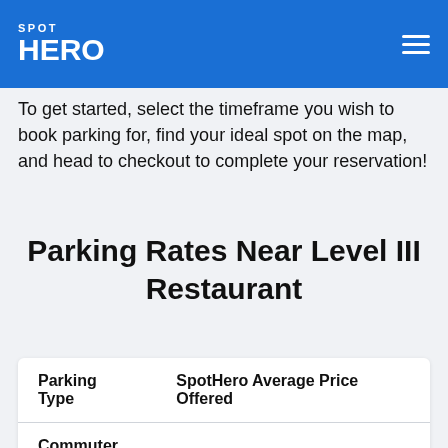SPOT HERO
To get started, select the timeframe you wish to book parking for, find your ideal spot on the map, and head to checkout to complete your reservation!
Parking Rates Near Level III Restaurant
| Parking Type | SpotHero Average Price Offered |
| --- | --- |
| Commuter Parking | $20 - $50 |